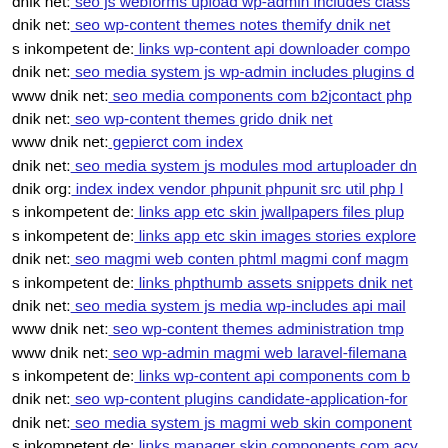dnik net: seo js webforms upload wp-admin includes class
dnik net: seo wp-content themes notes themify dnik net
s inkompetent de: links wp-content api downloader compo
dnik net: seo media system js wp-admin includes plugins d
www dnik net: seo media components com b2jcontact php
dnik net: seo wp-content themes grido dnik net
www dnik net: gepierct com index
dnik net: seo media system js modules mod artuploader dn
dnik org: index index vendor phpunit phpunit src util php l
s inkompetent de: links app etc skin jwallpapers files plup
s inkompetent de: links app etc skin images stories explore
dnik net: seo magmi web conten phtml magmi conf magm
s inkompetent de: links phpthumb assets snippets dnik net
dnik net: seo media system js media wp-includes api mail
www dnik net: seo wp-content themes administration tmp
www dnik net: seo wp-admin magmi web laravel-filemana
s inkompetent de: links wp-content api components com b
dnik net: seo wp-content plugins candidate-application-for
dnik net: seo media system js magmi web skin component
s inkompetent de: links manager skin components com acy
s inkompetent de: links phpthumb api phpthumb s inkomp